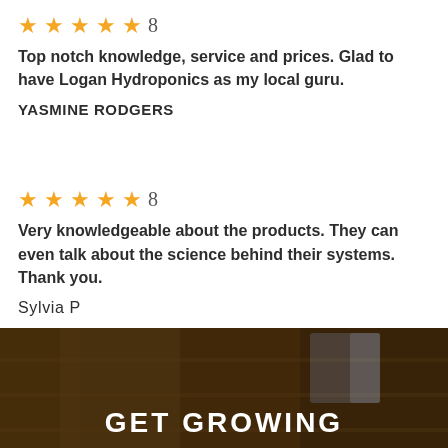[Figure (other): Five gold stars rating with number 8]
Top notch knowledge, service and prices. Glad to have Logan Hydroponics as my local guru.
YASMINE RODGERS
[Figure (other): Five gold stars rating with number 8]
Very knowledgeable about the products. They can even talk about the science behind their systems. Thank you.
Sylvia P
[Figure (photo): Dark banner/background image of warehouse or store shelves with GET GROWING text overlay]